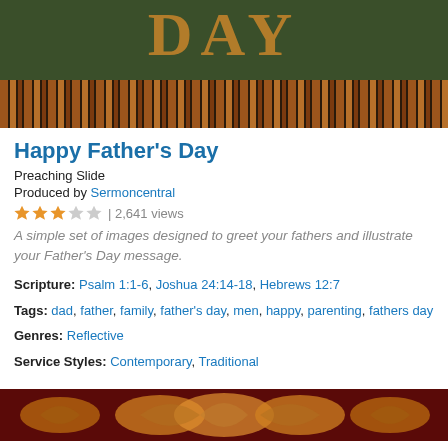[Figure (photo): Father's Day decorative banner image with the word 'DAY' visible and golden/red striped pattern below on a dark green background]
Happy Father's Day
Preaching Slide
Produced by Sermoncentral
★★★☆☆ | 2,641 views
A simple set of images designed to greet your fathers and illustrate your Father's Day message.
Scripture: Psalm 1:1-6, Joshua 24:14-18, Hebrews 12:7
Tags: dad, father, family, father's day, men, happy, parenting, fathers day
Genres: Reflective
Service Styles: Contemporary, Traditional
[Figure (photo): Decorative ornamental pattern in red and gold on dark background]